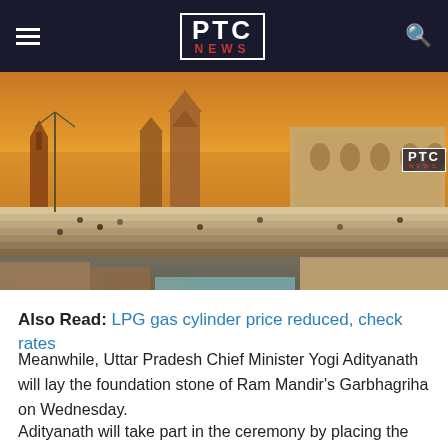PTC NEWS
[Figure (photo): Photo of Varanasi ghats with temples, stone steps leading to river, crowds of people, warm golden/orange sky, historic architecture including temples and arched buildings]
Also Read: LPG gas cylinder price reduced, check rates
Meanwhile, Uttar Pradesh Chief Minister Yogi Adityanath will lay the foundation stone of Ram Mandir's Garbhagriha on Wednesday.
Adityanath will take part in the ceremony by placing the first